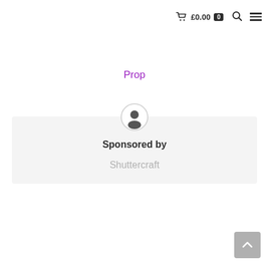£0.00  0
Prop
Sponsored by
Shuttercraft